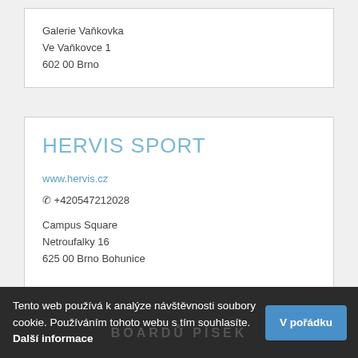Galerie Vaňkovka
Ve Vaňkovce 1
602 00 Brno
HERVIS SPORT
www.hervis.cz
☎ +420547212028
Campus Square
Netroufalky 16
625 00 Brno Bohunice
Tento web používá k analýze návštěvnosti soubory cookie. Používáním tohoto webu s tím souhlasíte. Další informace